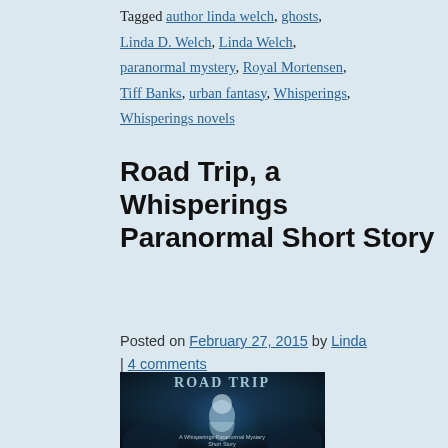Tagged author linda welch, ghosts, Linda D. Welch, Linda Welch, paranormal mystery, Royal Mortensen, Tiff Banks, urban fantasy, Whisperings, Whisperings novels
Road Trip, a Whisperings Paranormal Short Story
Posted on February 27, 2015 by Linda | 4 comments
[Figure (illustration): Book cover for 'Road Trip: A Whisperings Paranormal Mystery Short Story' with dark blue/teal background and ghostly figure, with stylized title text in light blue]